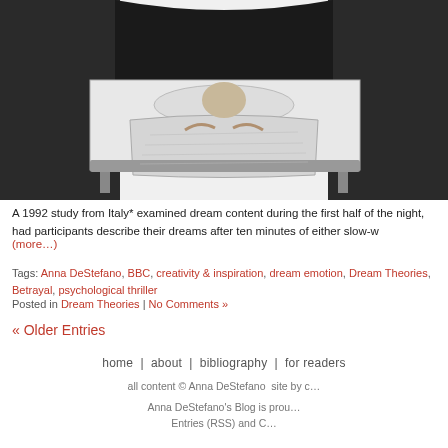[Figure (illustration): Pencil sketch illustration of a person lying in a large ornate bed, viewed from above, with dark headboard and footboard]
A 1992 study from Italy* examined dream content during the first half of the night, had participants describe their dreams after ten minutes of either slow-w...
(more…)
Tags: Anna DeStefano, BBC, creativity & inspiration, dream emotion, Dream Theories, Betrayal, psychological thriller
Posted in Dream Theories | No Comments »
« Older Entries
home | about | bibliography | for readers
all content © Anna DeStefano site by ...
Anna DeStefano's Blog is prou... Entries (RSS) and C...